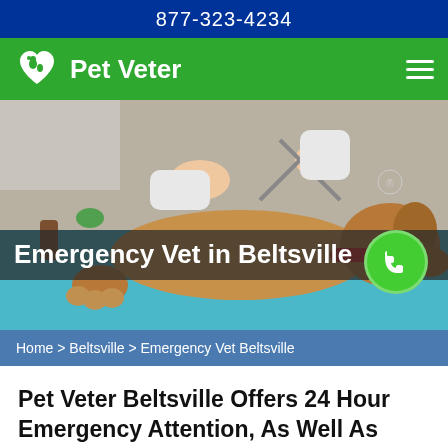877-323-4234
[Figure (logo): Pet Veter logo with heart icon containing dog and cat silhouettes, white on green background, with hamburger menu icon]
[Figure (photo): A dog lying on a veterinary table with a red collar being examined with scissors by a vet in a white coat, with a green phone call button overlay]
Emergency Vet in Beltsville
Home > Beltsville > Emergency Vet Beltsville
Pet Veter Beltsville Offers 24 Hour Emergency Attention, As Well As Routine Veterinary Services For Your